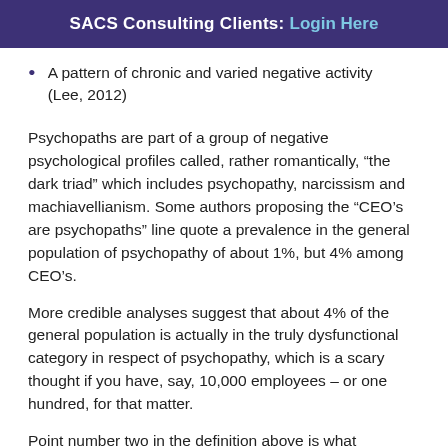SACS Consulting Clients: Login Here
A pattern of chronic and varied negative activity (Lee, 2012)
Psychopaths are part of a group of negative psychological profiles called, rather romantically, “the dark triad” which includes psychopathy, narcissism and machiavellianism. Some authors proposing the “CEO’s are psychopaths” line quote a prevalence in the general population of psychopathy of about 1%, but 4% among CEO’s.
More credible analyses suggest that about 4% of the general population is actually in the truly dysfunctional category in respect of psychopathy, which is a scary thought if you have, say, 10,000 employees – or one hundred, for that matter.
Point number two in the definition above is what